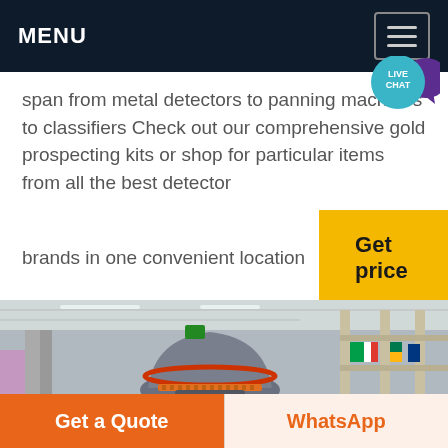MENU
span from metal detectors to panning machines to classifiers Check out our comprehensive gold prospecting kits or shop for particular items from all the best detector brands in one convenient location
[Figure (other): Get price button — yellow/amber rectangular button with bold text 'Get price']
[Figure (photo): Industrial interior showing a large grey conical/dome-shaped metal grinding or milling machine in a warehouse with steel scaffolding, flags, and industrial ceiling structure]
Get a Quote
WhatsApp